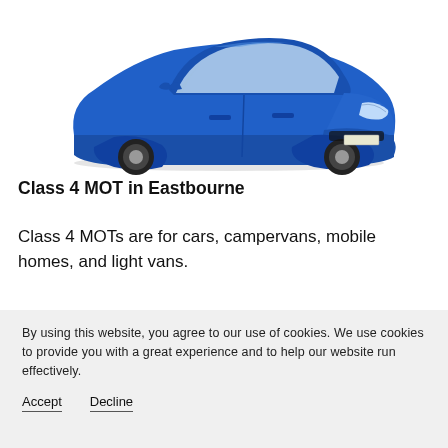[Figure (photo): A blue sporty hatchback car (Renault Megane style) viewed from the front-left angle, on a white background.]
Class 4 MOT in Eastbourne
Class 4 MOTs are for cars, campervans, mobile homes, and light vans.
By using this website, you agree to our use of cookies. We use cookies to provide you with a great experience and to help our website run effectively.

Accept   Decline